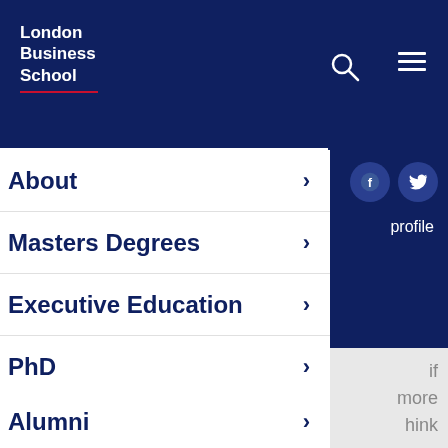London Business School
About
Masters Degrees
Executive Education
PhD
Faculty & Research
Think
Alumni
profile
if more hink